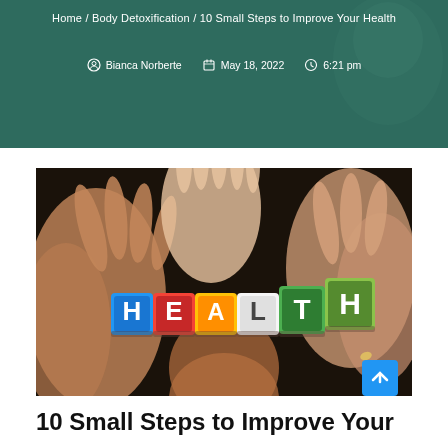Home / Body Detoxification / 10 Small Steps to Improve Your Health
Bianca Norberte   May 18, 2022   6:21 pm
[Figure (photo): Multiple hands of different sizes arranged in a circle holding colorful letter blocks spelling HEALTH]
10 Small Steps to Improve Your